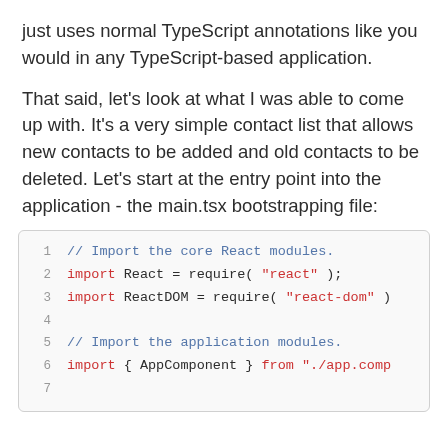just uses normal TypeScript annotations like you would in any TypeScript-based application.
That said, let's look at what I was able to come up with. It's a very simple contact list that allows new contacts to be added and old contacts to be deleted. Let's start at the entry point into the application - the main.tsx bootstrapping file:
[Figure (screenshot): Code block showing TypeScript/React import statements with line numbers 1-7. Line 1: // Import the core React modules. Line 2: import React = require( "react" ); Line 3: import ReactDOM = require( "react-dom" ); Line 4: (blank) Line 5: // Import the application modules. Line 6: import { AppComponent } from "./app.comp... Line 7: (blank)]